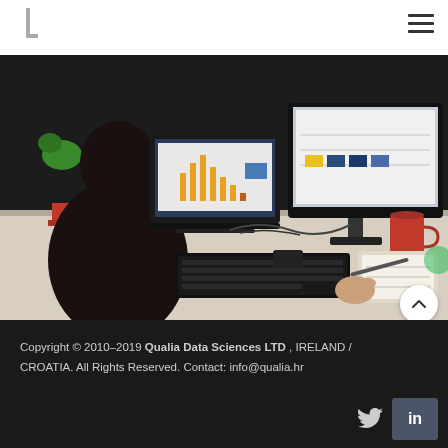Qualia Data Sciences logo and navigation
[Figure (photo): Person sitting at a desk working on dual monitors showing data analytics dashboards and charts, with a keyboard and red coffee mug visible]
Copyright © 2010–2019 Qualia Data Sciences LTD , IRELAND / CROATIA. All Rights Reserved. Contact: info@qualia.hr